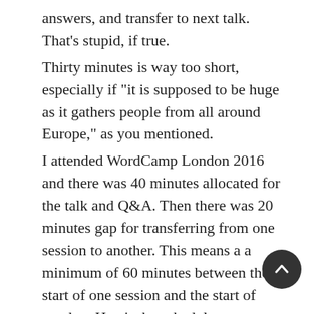answers, and transfer to next talk. That's stupid, if true.
Thirty minutes is way too short, especially if "it is supposed to be huge as it gathers people from all around Europe," as you mentioned.
I attended WordCamp London 2016 and there was 40 minutes allocated for the talk and Q&A. Then there was 20 minutes gap for transferring from one session to another. This means a a minimum of 60 minutes between the start of one session and the start of another. Here's the schedule:
https://2016.london.wordcamp.org/schedule/
The Happiness bar, while nice (and yes, I used it in Vienna) is not a place to ask the speaker a question immediately following the talk. The Q&A time for the talks was limited mostly to just